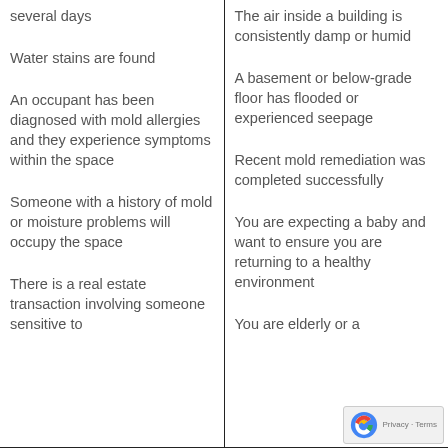|  |  |
| --- | --- |
| several days | The air inside a building is consistently damp or humid |
| Water stains are found |  |
| An occupant has been diagnosed with mold allergies and they experience symptoms within the space | A basement or below-grade floor has flooded or experienced seepage |
|  | Recent mold remediation was completed successfully |
| Someone with a history of mold or moisture problems will occupy the space | You are expecting a baby and want to ensure you are returning to a healthy environment |
| There is a real estate transaction involving someone sensitive to | You are elderly or a |